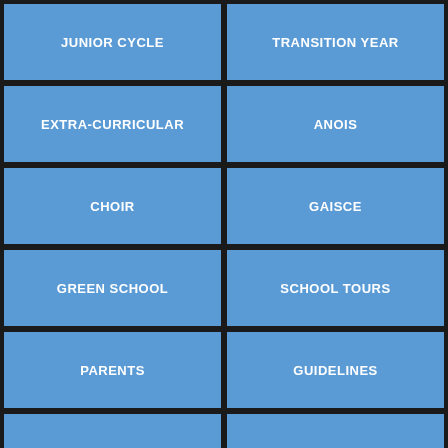JUNIOR CYCLE
TRANSITION YEAR
EXTRA-CURRICULAR
ANOIS
CHOIR
GAISCE
GREEN SCHOOL
SCHOOL TOURS
PARENTS
GUIDELINES
POLICIES
CODE OF BEHAVIOUR
ANTI-BULLYING
SPORT
RUGBY
SOCCER
LINKS
© 2022 St. Clement's. All rights reserved.
Translate »